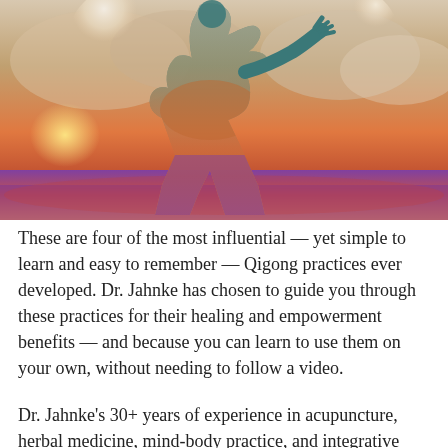[Figure (photo): A silhouette of a person in a lunging Qigong/Tai Chi pose, with a colorful double-exposure effect showing a sunset landscape with orange, pink, and purple hues, clouds, and a large moon in the background.]
These are four of the most influential — yet simple to learn and easy to remember — Qigong practices ever developed. Dr. Jahnke has chosen to guide you through these practices for their healing and empowerment benefits — and because you can learn to use them on your own, without needing to follow a video.
Dr. Jahnke's 30+ years of experience in acupuncture, herbal medicine, mind-body practice, and integrative medicine — as well as his